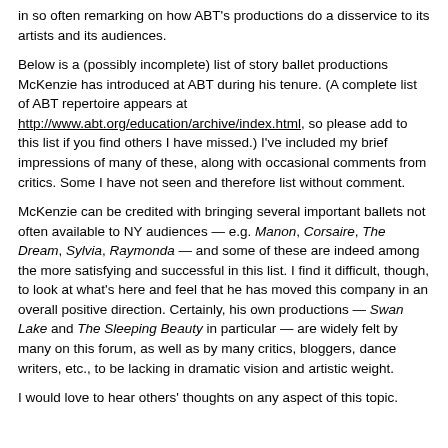in so often remarking on how ABT's productions do a disservice to its artists and its audiences.
Below is a (possibly incomplete) list of story ballet productions McKenzie has introduced at ABT during his tenure. (A complete list of ABT repertoire appears at http://www.abt.org/education/archive/index.html, so please add to this list if you find others I have missed.) I've included my brief impressions of many of these, along with occasional comments from critics. Some I have not seen and therefore list without comment.
McKenzie can be credited with bringing several important ballets not often available to NY audiences — e.g. Manon, Corsaire, The Dream, Sylvia, Raymonda — and some of these are indeed among the more satisfying and successful in this list. I find it difficult, though, to look at what's here and feel that he has moved this company in an overall positive direction. Certainly, his own productions — Swan Lake and The Sleeping Beauty in particular — are widely felt by many on this forum, as well as by many critics, bloggers, dance writers, etc., to be lacking in dramatic vision and artistic weight.
I would love to hear others' thoughts on any aspect of this topic.